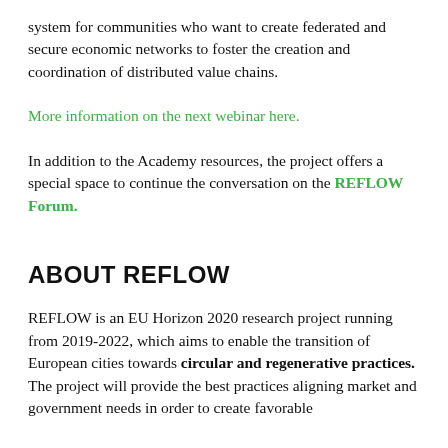system for communities who want to create federated and secure economic networks to foster the creation and coordination of distributed value chains.
More information on the next webinar here.
In addition to the Academy resources, the project offers a special space to continue the conversation on the REFLOW Forum.
ABOUT REFLOW
REFLOW is an EU Horizon 2020 research project running from 2019-2022, which aims to enable the transition of European cities towards circular and regenerative practices. The project will provide the best practices aligning market and government needs in order to create favorable